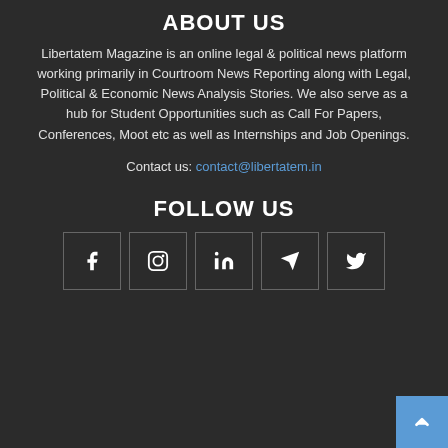ABOUT US
Libertatem Magazine is an online legal & political news platform working primarily in Courtroom News Reporting along with Legal, Political & Economic News Analysis Stories. We also serve as a hub for Student Opportunities such as Call For Papers, Conferences, Moot etc as well as Internships and Job Openings.
Contact us: contact@libertatem.in
FOLLOW US
[Figure (infographic): Five social media icon boxes: Facebook, Instagram, LinkedIn, Telegram, Twitter]